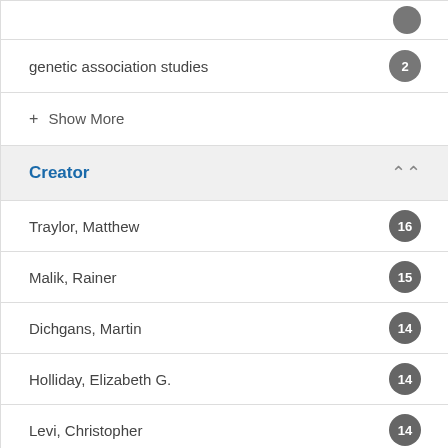genetic association studies
+ Show More
Creator
Traylor, Matthew
Malik, Rainer
Dichgans, Martin
Holliday, Elizabeth G.
Levi, Christopher
Markus, Hugh S.
Rothwell, Peter M.
Sudlow, Cathie